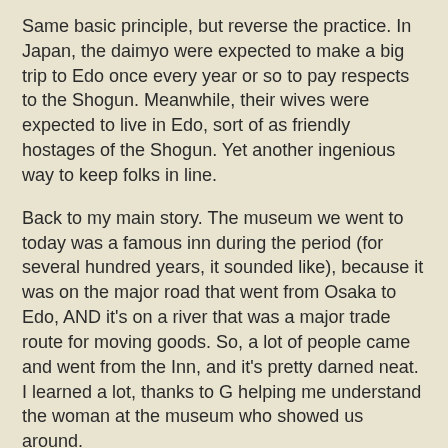Same basic principle, but reverse the practice. In Japan, the daimyo were expected to make a big trip to Edo once every year or so to pay respects to the Shogun. Meanwhile, their wives were expected to live in Edo, sort of as friendly hostages of the Shogun. Yet another ingenious way to keep folks in line.
Back to my main story. The museum we went to today was a famous inn during the period (for several hundred years, it sounded like), because it was on the major road that went from Osaka to Edo, AND it's on a river that was a major trade route for moving goods. So, a lot of people came and went from the Inn, and it's pretty darned neat. I learned a lot, thanks to G helping me understand the woman at the museum who showed us around.
I love the folks at local museums. It's the same in the US. You usually get someone who just loves local history, is friendly, likes to tell a story, and off you go. This woman sang and did the working calls of people on the boats (both the people who pulled barges up and down, and the people who went out on smaller boats to sell food and goods to people